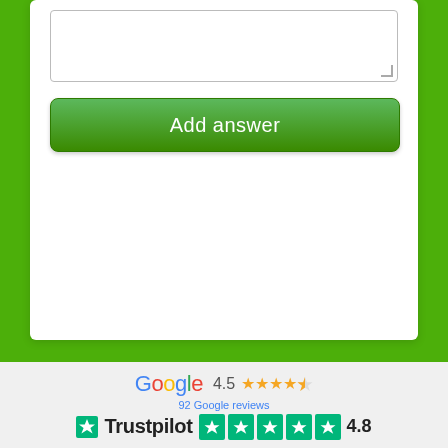[Figure (screenshot): Green background with white card containing a textarea and green 'Add answer' button]
[Figure (logo): Google rating: 4.5 stars, 92 Google reviews. Trustpilot rating: 4.8 stars with 5 green boxes.]